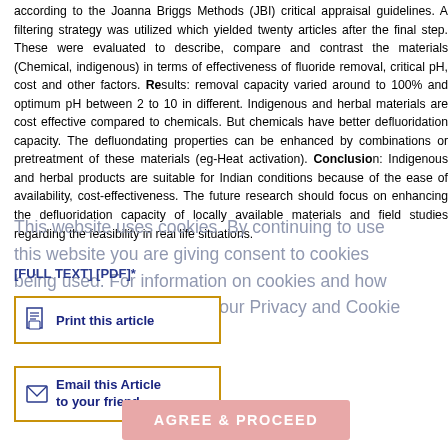according to the Joanna Briggs Methods (JBI) critical appraisal guidelines. A filtering strategy was utilized which yielded twenty articles after the final step. These were evaluated to describe, compare and contrast the materials (Chemical, indigenous) in terms of effectiveness of fluoride removal, critical pH, cost and other factors. Results: removal capacity varied around to 100% and optimum pH between 2 to 10 in different. Indigenous and herbal materials are cost effective compared to chemicals. But chemicals have better defluoridation capacity. The defluondating properties can be enhanced by combinations or pretreatment of these materials (eg-Heat activation). Conclusion: Indigenous and herbal products are suitable for Indian conditions because of the ease of availability, cost-effectiveness. The future research should focus on enhancing the defluoridation capacity of locally available materials and field studies regarding the feasibility in real life situations.
This website uses cookies. By continuing to use this website you are giving consent to cookies being used. For information on cookies and how you can disable them visit our Privacy and Cookie Policy.
[FULL TEXT] [PDF]*
Print this article
Email this Article to your friend
AGREE & PROCEED